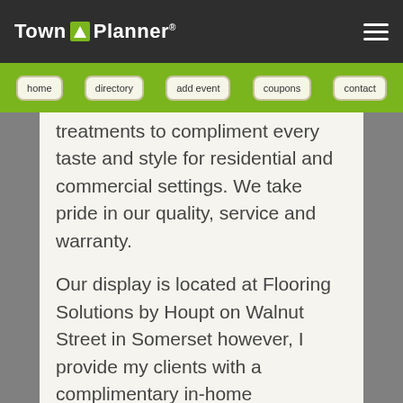Town Planner
home   directory   add event   coupons   contact
treatments to compliment every taste and style for residential and commercial settings. We take pride in our quality, service and warranty.
Our display is located at Flooring Solutions by Houpt on Walnut Street in Somerset however, I provide my clients with a complimentary in-home consultation and bring the showroom to their home or business so they can shop at their leisure.